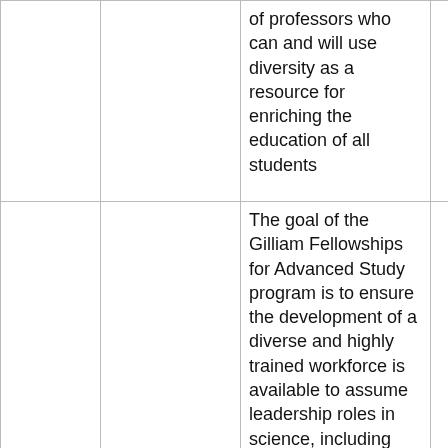|  |  | of professors who can and will use diversity as a resource for enriching the education of all students |  |
| Private | HHMI/Gilliam Fellowships for | The goal of the Gilliam Fellowships for Advanced Study program is to ensure the development of a diverse and highly trained workforce is available to assume leadership roles in science, including college and university faculty, who have the responsibility to | P A |